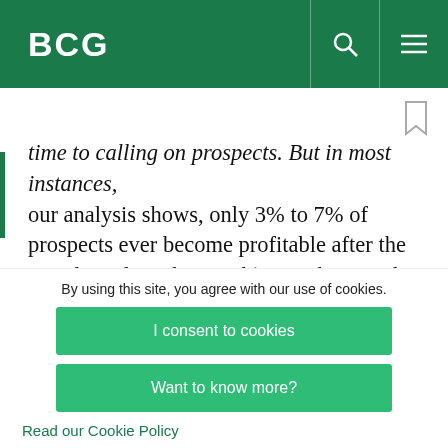BCG
time to calling on prospects. But in most instances, our analysis shows, only 3% to 7% of prospects ever become profitable after the initial postlaunch period.¹   In other words, pharma companies invest far more in these physicians than they will ever recoup from them in revenue and profits. Only a
By using this site, you agree with our use of cookies.
I consent to cookies
Want to know more?
Read our Cookie Policy